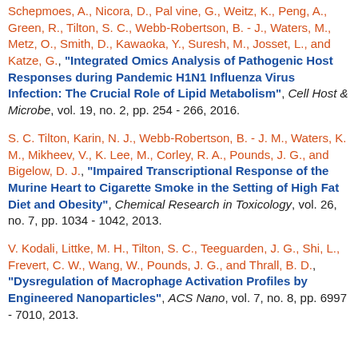Schepmoes, A., Nicora, D., Pal vine, G., Weitz, K., Peng, A., Green, R., Tilton, S. C., Webb-Robertson, B. - J., Waters, M., Metz, O., Smith, D., Kawaoka, Y., Suresh, M., Josset, L., and Katze, G., "Integrated Omics Analysis of Pathogenic Host Responses during Pandemic H1N1 Influenza Virus Infection: The Crucial Role of Lipid Metabolism", Cell Host & Microbe, vol. 19, no. 2, pp. 254 - 266, 2016.
S. C. Tilton, Karin, N. J., Webb-Robertson, B. - J. M., Waters, K. M., Mikheev, V., K. Lee, M., Corley, R. A., Pounds, J. G., and Bigelow, D. J., "Impaired Transcriptional Response of the Murine Heart to Cigarette Smoke in the Setting of High Fat Diet and Obesity", Chemical Research in Toxicology, vol. 26, no. 7, pp. 1034 - 1042, 2013.
V. Kodali, Littke, M. H., Tilton, S. C., Teeguarden, J. G., Shi, L., Frevert, C. W., Wang, W., Pounds, J. G., and Thrall, B. D., "Dysregulation of Macrophage Activation Profiles by Engineered Nanoparticles", ACS Nano, vol. 7, no. 8, pp. 6997 - 7010, 2013.